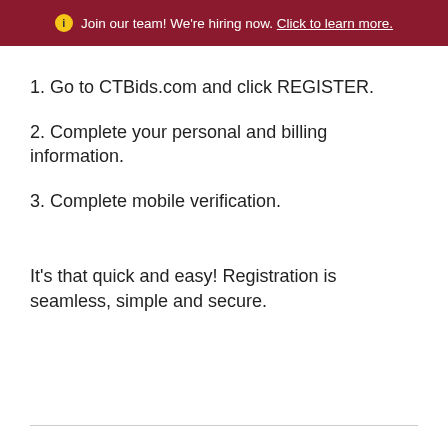ℹ Join our team! We're hiring now. Click to learn more.
1. Go to CTBids.com and click REGISTER.
2. Complete your personal and billing information.
3. Complete mobile verification.
It's that quick and easy! Registration is seamless, simple and secure.